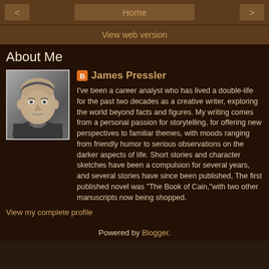< Home >
View web version
About Me
[Figure (photo): Black and white headshot photo of a middle-aged man, slightly balding, wearing a dark jacket]
James Pressler
I've been a career analyst who has lived a double-life for the past two decades as a creative writer, exploring the world beyond facts and figures. My writing comes from a personal passion for storytelling, for offering new perspectives to familiar themes, with moods ranging from friendly humor to serious observations on the darker aspects of life. Short stories and character sketches have been a compulsion for several years, and several stories have since been published, The first published novel was "The Book of Cain,"with two other manuscripts now being shopped.
View my complete profile
Powered by Blogger.